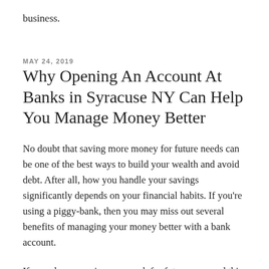business.
MAY 24, 2019
Why Opening An Account At Banks in Syracuse NY Can Help You Manage Money Better
No doubt that saving more money for future needs can be one of the best ways to build your wealth and avoid debt. After all, how you handle your savings significantly depends on your financial habits. If you're using a piggy-bank, then you may miss out several benefits of managing your money better with a bank account.
If you plan on saving your cash for future use, read this article to learn some of the reasons why opening an account at banks in Syracuse NY can help you manage money better.